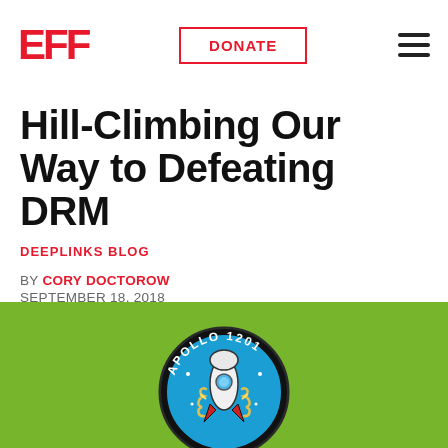EFF | DONATE
Hill-Climbing Our Way to Defeating DRM
DEEPLINKS BLOG
BY CORY DOCTOROW
SEPTEMBER 18, 2018
[Figure (other): Social share buttons for Twitter and Facebook]
[Figure (illustration): Apollo 1201 circular badge/patch on a green background, featuring a rocket with broken chains and the text APOLLO 1201 around the rim]